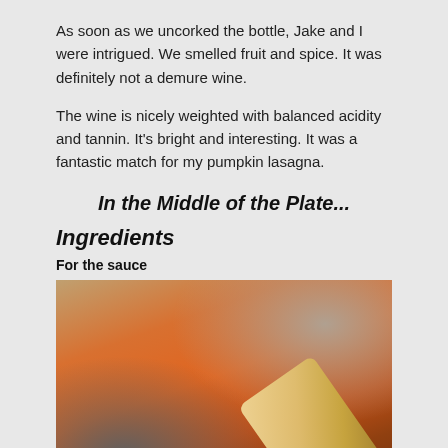As soon as we uncorked the bottle, Jake and I were intrigued. We smelled fruit and spice. It was definitely not a demure wine.
The wine is nicely weighted with balanced acidity and tannin. It's bright and interesting. It was a fantastic match for my pumpkin lasagna.
In the Middle of the Plate...
Ingredients
For the sauce
[Figure (photo): A metal bowl containing orange pumpkin sauce being stirred with a wooden spoon. Overlay text reads 'Culinary Adventures with Camilla' and 'PUMPKIN LASAGNA WITH CÔTES DE PASO'.]